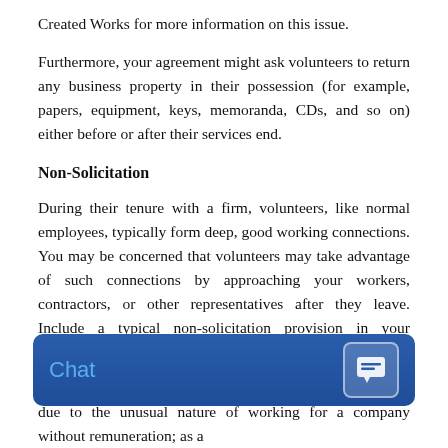Created Works for more information on this issue.
Furthermore, your agreement might ask volunteers to return any business property in their possession (for example, papers, equipment, keys, memoranda, CDs, and so on) either before or after their services end.
Non-Solicitation
During their tenure with a firm, volunteers, like normal employees, typically form deep, good working connections. You may be concerned that volunteers may take advantage of such connections by approaching your workers, contractors, or other representatives after they leave. Include a typical non-solicitation provision in your Volunteer Agreement if you have any such worries.
[Figure (screenshot): Chat widget button with blue background and white chat icon]
Volunteers are frequently viewed as a valued commodity due to the unusual nature of working for a company without remuneration; as a